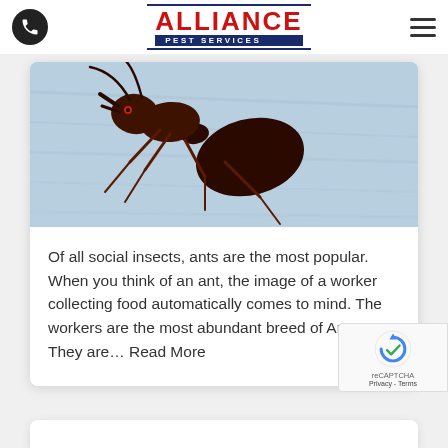Alliance Pest Services
[Figure (photo): Close-up macro photo of a dark reddish-brown ant on a light blue textured surface]
Of all social insects, ants are the most popular. When you think of an ant, the image of a worker collecting food automatically comes to mind. The workers are the most abundant breed of Ants. They are... Read More
[Figure (other): Bottom edge of another card visible at the bottom of the page]